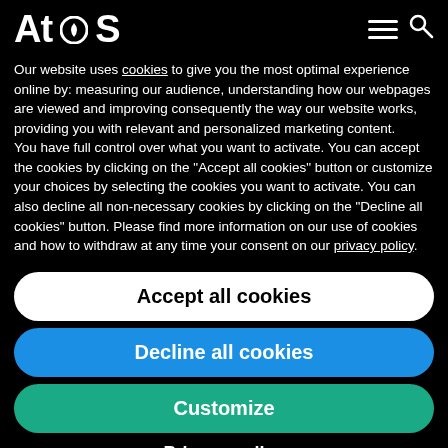[Figure (logo): Atos company logo in white on black background]
Our website uses cookies to give you the most optimal experience online by: measuring our audience, understanding how our webpages are viewed and improving consequently the way our website works, providing you with relevant and personalized marketing content.
You have full control over what you want to activate. You can accept the cookies by clicking on the "Accept all cookies" button or customize your choices by selecting the cookies you want to activate. You can also decline all non-necessary cookies by clicking on the "Decline all cookies" button. Please find more information on our use of cookies and how to withdraw at any time your consent on our privacy policy.
Accept all cookies
Decline all cookies
Customize
Privacy policy